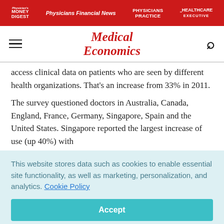Physician's Money Digest | Physicians Financial News | Physicians Practice | Healthcare Executive
[Figure (logo): Medical Economics logo with red italic text]
access clinical data on patients who are seen by different health organizations. That's an increase from 33% in 2011.
The survey questioned doctors in Australia, Canada, England, France, Germany, Singapore, Spain and the United States. Singapore reported the largest increase of use (up 40%) with
This website stores data such as cookies to enable essential site functionality, as well as marketing, personalization, and analytics. Cookie Policy
Accept
Deny